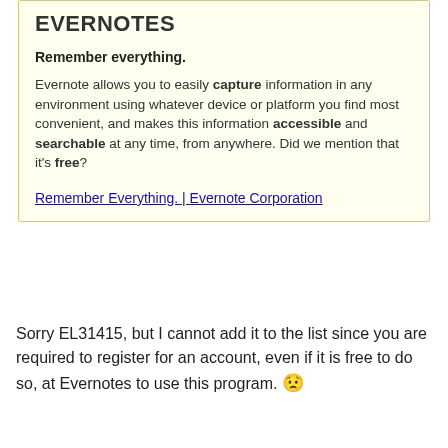EVERNOTES
Remember everything.
Evernote allows you to easily capture information in any environment using whatever device or platform you find most convenient, and makes this information accessible and searchable at any time, from anywhere. Did we mention that it's free?
Remember Everything. | Evernote Corporation
Sorry EL31415, but I cannot add it to the list since you are required to register for an account, even if it is free to do so, at Evernotes to use this program. ☹